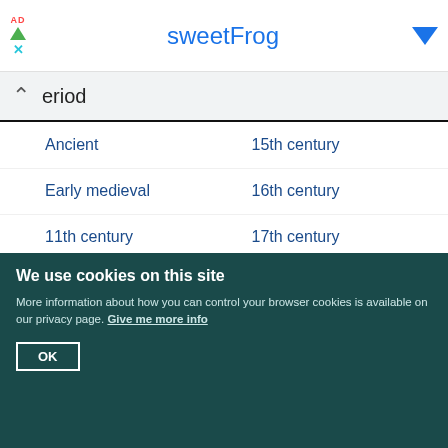[Figure (screenshot): SweetFrog advertisement banner with navigation icons]
eriod
Ancient
15th century
Early medieval
16th century
11th century
17th century
12th century
18th century
13th century
19th century
14th century
20th century
[Figure (logo): Institute of Historical Research / School of Advanced Study University of London logo]
Help  Subscribe  Donate  About the project  Contact us  Terms of use
We use cookies on this site
More information about how you can control your browser cookies is available on our privacy page. Give me more info
OK